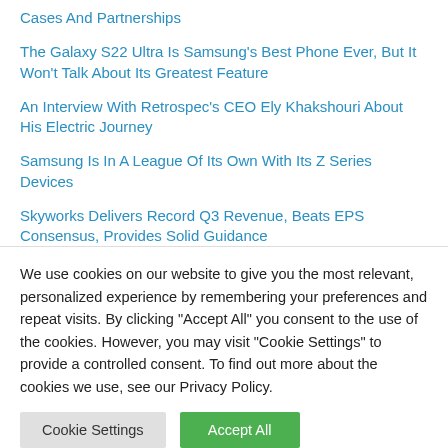Cases And Partnerships
The Galaxy S22 Ultra Is Samsung's Best Phone Ever, But It Won't Talk About Its Greatest Feature
An Interview With Retrospec's CEO Ely Khakshouri About His Electric Journey
Samsung Is In A League Of Its Own With Its Z Series Devices
Skyworks Delivers Record Q3 Revenue, Beats EPS Consensus, Provides Solid Guidance
We use cookies on our website to give you the most relevant, personalized experience by remembering your preferences and repeat visits. By clicking "Accept All" you consent to the use of the cookies. However, you may visit "Cookie Settings" to provide a controlled consent. To find out more about the cookies we use, see our Privacy Policy.
Cookie Settings | Accept All